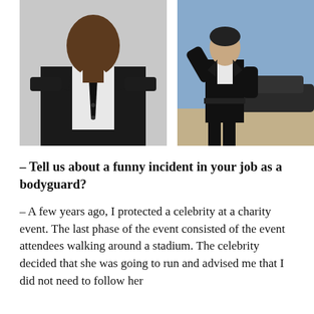[Figure (photo): Two photos side by side: left photo shows a Black man in a black suit with white shirt and black tie against a light background; right photo shows a person in a black suit standing outdoors near a car.]
– Tell us about a funny incident in your job as a bodyguard?
– A few years ago, I protected a celebrity at a charity event. The last phase of the event consisted of the event attendees walking around a stadium. The celebrity decided that she was going to run and advised me that I did not need to follow her